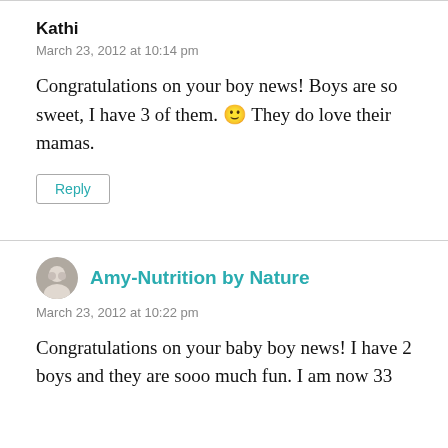Kathi
March 23, 2012 at 10:14 pm
Congratulations on your boy news! Boys are so sweet, I have 3 of them. 🙂 They do love their mamas.
Reply
Amy-Nutrition by Nature
March 23, 2012 at 10:22 pm
Congratulations on your baby boy news! I have 2 boys and they are sooo much fun. I am now 33